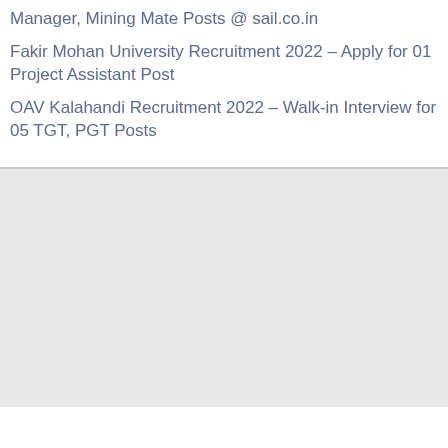Manager, Mining Mate Posts @ sail.co.in
Fakir Mohan University Recruitment 2022 – Apply for 01 Project Assistant Post
OAV Kalahandi Recruitment 2022 – Walk-in Interview for 05 TGT, PGT Posts